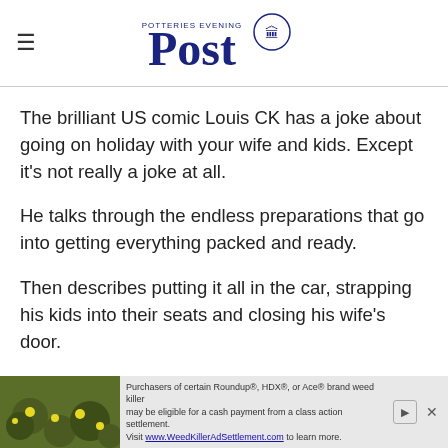Potteries Evening Post
The brilliant US comic Louis CK has a joke about going on holiday with your wife and kids. Except it's not really a joke at all.
He talks through the endless preparations that go into getting everything packed and ready.
Then describes putting it all in the car, strapping his kids into their seats and closing his wife's door.
[Figure (other): Advertisement banner for Roundup weed killer class action settlement at WeedKillerAdSettlement.com]